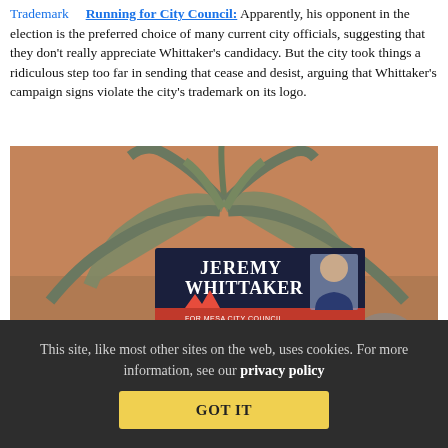Trademark  Running for City Council: Apparently, his opponent in the election is the preferred choice of many current city officials, suggesting that they don't really appreciate Whittaker's candidacy. But the city took things a ridiculous step too far in sending that cease and desist, arguing that Whittaker's campaign signs violate the city's trademark on its logo.
[Figure (photo): Photograph of a Jeremy Whittaker for Mesa City Council campaign yard sign in front of a large agave plant against an adobe brick wall. The sign reads: JEREMY WHITTAKER FOR MESA CITY COUNCIL, JEREMYWHITTAKER.COM, with a red geometric logo and a photo of the candidate.]
This site, like most other sites on the web, uses cookies. For more information, see our privacy policy
GOT IT